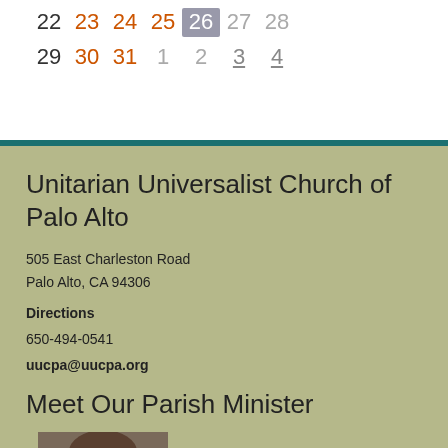22 23 24 25 26 27 28
29 30 31 1 2 3 4
Unitarian Universalist Church of Palo Alto
505 East Charleston Road
Palo Alto, CA 94306
Directions
650-494-0541
uucpa@uucpa.org
Meet Our Parish Minister
[Figure (photo): Portrait photo of a person with curly brown hair and glasses]